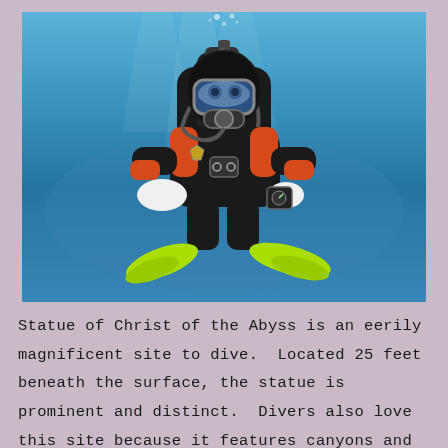[Figure (photo): Underwater photograph of a scuba diver in black and orange wetsuit with yellow-green fins and white gloves, floating against a blue ocean background. The diver is facing the camera, wearing a diving mask and breathing apparatus.]
Statue of Christ of the Abyss is an eerily magnificent site to dive.  Located 25 feet beneath the surface, the statue is prominent and distinct.  Divers also love this site because it features canyons and trenches to be explored,